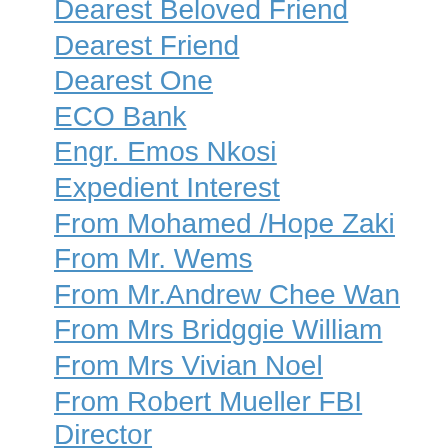Dearest Beloved Friend
Dearest Friend
Dearest One
ECO Bank
Engr. Emos Nkosi
Expedient Interest
From Mohamed /Hope Zaki
From Mr. Wems
From Mr.Andrew Chee Wan
From Mrs Bridggie William
From Mrs Vivian Noel
From Robert Mueller FBI Director
Good Day
Good Day
Hello